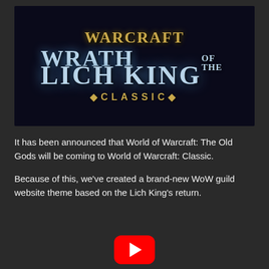[Figure (illustration): World of Warcraft: Wrath of the Lich King Classic logo on dark background]
It has been announced that World of Warcraft: The Old Gods will be coming to World of Warcraft: Classic.
Because of this, we've created a brand-new WoW guild website theme based on the Lich King's return.
[Figure (illustration): YouTube play button icon (red rounded rectangle with white play triangle)]